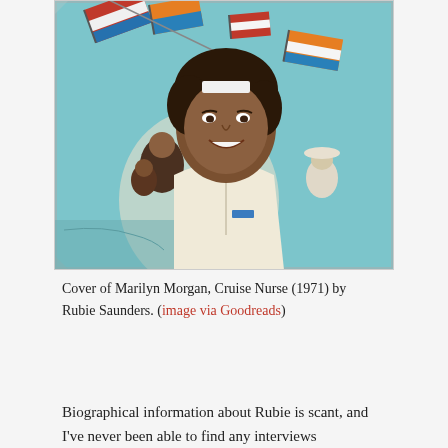[Figure (illustration): Book cover of 'Marilyn Morgan, Cruise Nurse' (1971) by Rubie Saunders. Shows a painted illustration of a young Black woman in a white nurse's uniform smiling at the viewer, with colorful nautical flags in the background, and smaller figures of people behind her.]
Cover of Marilyn Morgan, Cruise Nurse (1971) by Rubie Saunders. (image via Goodreads)
Biographical information about Rubie is scant, and I've never been able to find any interviews